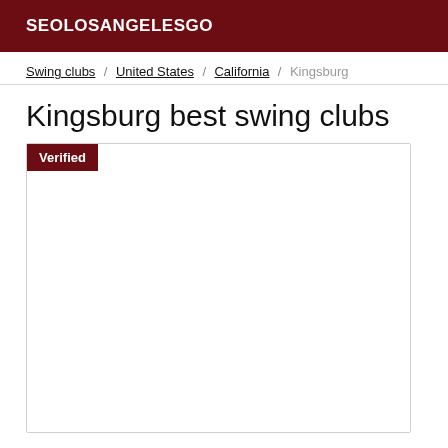SEOLOSANGELESGO
Swing clubs / United States / California / Kingsburg
Kingsburg best swing clubs
Verified